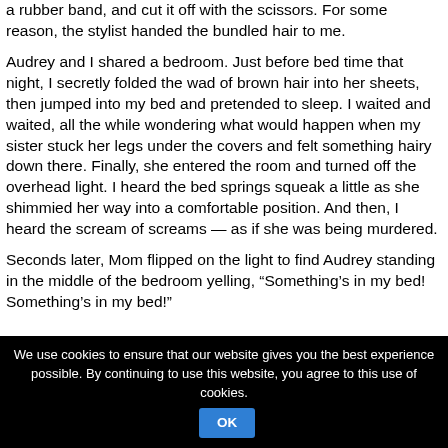a rubber band, and cut it off with the scissors. For some reason, the stylist handed the bundled hair to me.
Audrey and I shared a bedroom. Just before bed time that night, I secretly folded the wad of brown hair into her sheets, then jumped into my bed and pretended to sleep. I waited and waited, all the while wondering what would happen when my sister stuck her legs under the covers and felt something hairy down there. Finally, she entered the room and turned off the overhead light. I heard the bed springs squeak a little as she shimmied her way into a comfortable position. And then, I heard the scream of screams — as if she was being murdered.
Seconds later, Mom flipped on the light to find Audrey standing in the middle of the bedroom yelling, “Something’s in my bed! Something’s in my bed!”
We use cookies to ensure that our website gives you the best experience possible. By continuing to use this website, you agree to this use of cookies. OK